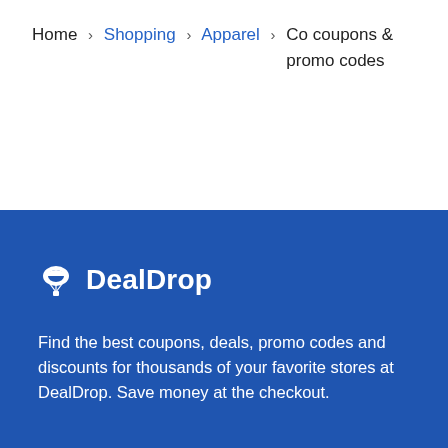Home > Shopping > Apparel > Co coupons & promo codes
[Figure (logo): DealDrop logo with parachute icon and bold white text on blue background]
Find the best coupons, deals, promo codes and discounts for thousands of your favorite stores at DealDrop. Save money at the checkout.
TOP CATEGORIES
Baby
Eyewear